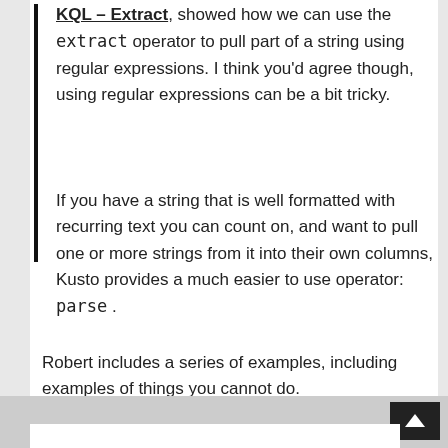KQL – Extract, showed how we can use the extract operator to pull part of a string using regular expressions. I think you'd agree though, using regular expressions can be a bit tricky.
If you have a string that is well formatted with recurring text you can count on, and want to pull one or more strings from it into their own columns, Kusto provides a much easier to use operator: parse .
Robert includes a series of examples, including examples of things you cannot do.
Comments closed